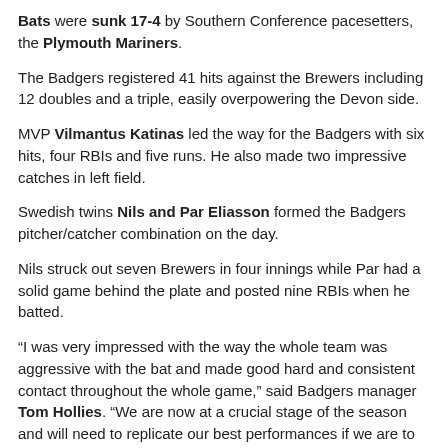Bats were sunk 17-4 by Southern Conference pacesetters, the Plymouth Mariners.
The Badgers registered 41 hits against the Brewers including 12 doubles and a triple, easily overpowering the Devon side.
MVP Vilmantus Katinas led the way for the Badgers with six hits, four RBIs and five runs. He also made two impressive catches in left field.
Swedish twins Nils and Par Eliasson formed the Badgers pitcher/catcher combination on the day.
Nils struck out seven Brewers in four innings while Par had a solid game behind the plate and posted nine RBIs when he batted.
“I was very impressed with the way the whole team was aggressive with the bat and made good hard and consistent contact throughout the whole game,” said Badgers manager Tom Hollies. “We are now at a crucial stage of the season and will need to replicate our best performances if we are to win our conference and make the SWBL Championship Final.”